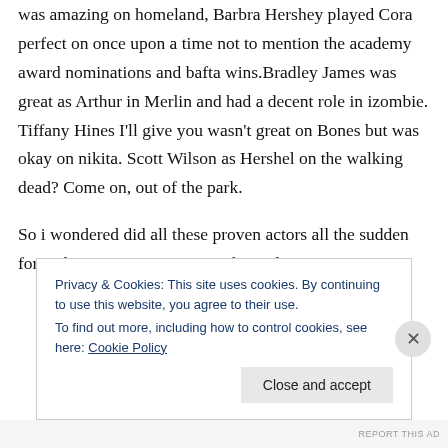was amazing on homeland, Barbra Hershey played Cora perfect on once upon a time not to mention the academy award nominations and bafta wins.Bradley James was great as Arthur in Merlin and had a decent role in izombie. Tiffany Hines I'll give you wasn't great on Bones but was okay on nikita. Scott Wilson as Hershel on the walking dead? Come on, out of the park.

So i wondered did all these proven actors all the sudden forget how to act or is it something else.
Privacy & Cookies: This site uses cookies. By continuing to use this website, you agree to their use. To find out more, including how to control cookies, see here: Cookie Policy
REPORT THIS AD